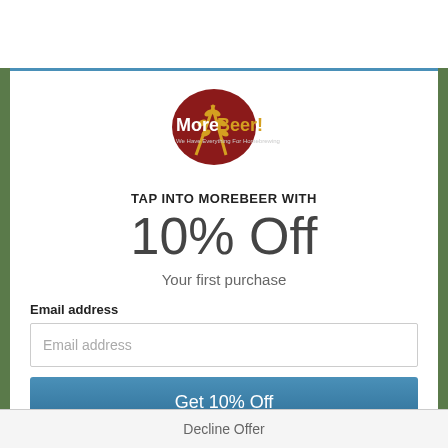[Figure (logo): MoreBeer! logo — dark red circle with grain stalks and text]
TAP INTO MOREBEER WITH
10% Off
Your first purchase
Email address
Email address (input field placeholder)
Get 10% Off
Decline Offer